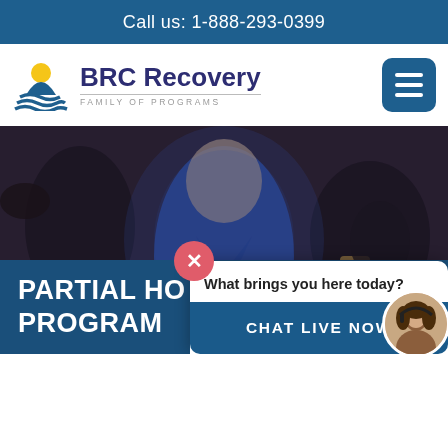Call us: 1-888-293-0399
[Figure (logo): BRC Recovery Family of Programs logo with sun and waves icon]
[Figure (photo): Blurred photo of a woman in a blue dress at a social event, people holding drinks in background]
What brings you here today?
PARTIAL HO... PROGRAM
CHAT LIVE NOW